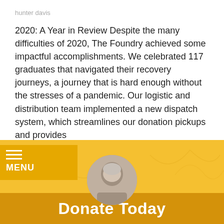hunter davis
2020: A Year in Review Despite the many difficulties of 2020, The Foundry achieved some impactful accomplishments. We celebrated 117 graduates that navigated their recovery journeys, a journey that is hard enough without the stresses of a pandemic. Our logistic and distribution team implemented a new dispatch system, which streamlines our donation pickups and provides
[Figure (infographic): Yellow/orange hamburger menu overlay with three white horizontal lines and the word MENU in white bold text on a gold/amber background]
January 16, 2021
READ ›
[Figure (photo): Yellow/gold banner section with a circular portrait photo of a person with grey/white hair partially visible, above a darker amber bar reading Donate Today in large white bold text]